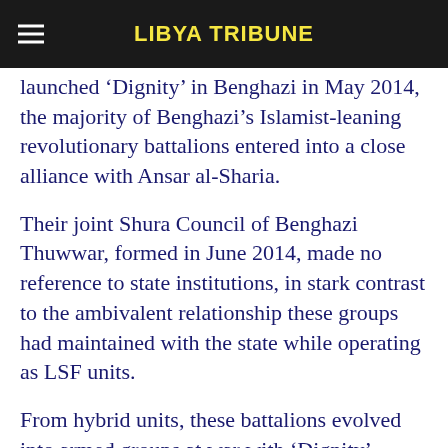LIBYA TRIBUNE
launched 'Dignity' in Benghazi in May 2014, the majority of Benghazi's Islamist-leaning revolutionary battalions entered into a close alliance with Ansar al-Sharia.
Their joint Shura Council of Benghazi Thuwwar, formed in June 2014, made no reference to state institutions, in stark contrast to the ambivalent relationship these groups had maintained with the state while operating as LSF units.
From hybrid units, these battalions evolved into armed groups at war with 'Dignity' forces that were equally outside state control, but challenging a government and